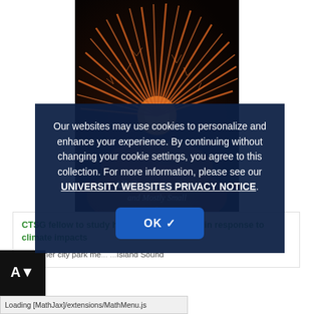[Figure (photo): Book cover for 'All Creatures Great and Mostly Small' — close-up photo of an orange/red sea anemone or coral creature on dark background with script title text overlay]
Our websites may use cookies to personalize and enhance your experience. By continuing without changing your cookie settings, you agree to this collection. For more information, please see our UNIVERSITY WEBSITES PRIVACY NOTICE.
OK ✓
CTSG fellow to study how behavior shaped in response to climate impacts
A cleaner city park me... ...Island Sound
Loading [MathJax]/extensions/MathMenu.js